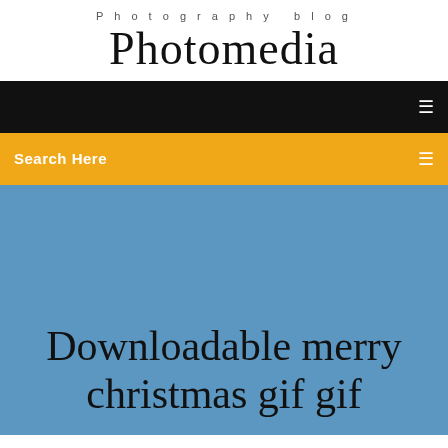Photography blog
Photomedia
[Figure (screenshot): Black navigation bar with a small white menu icon on the right]
Search Here
Downloadable merry christmas gif gif